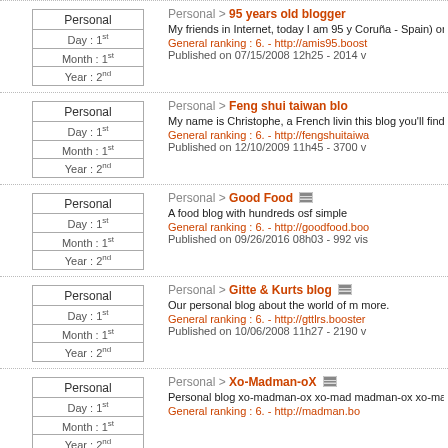| Personal |
| --- |
| Day : 1st |
| Month : 1st |
| Year : 2nd |
Personal > 95 years old blogger
My friends in Internet, today I am 95 y Coruña - Spain) on December the 23r very stingy, gave me a blog.
General ranking : 6. - http://amis95.boost
Published on 07/15/2008 12h25 - 2014 v
| Personal |
| --- |
| Day : 1st |
| Month : 1st |
| Year : 2nd |
Personal > Feng shui taiwan blo
My name is Christophe, a French livin this blog you'll find the greatest Feng
General ranking : 6. - http://fengshuitaiwa
Published on 12/10/2009 11h45 - 3700 v
| Personal |
| --- |
| Day : 1st |
| Month : 1st |
| Year : 2nd |
Personal > Good Food
A food blog with hundreds osf simple
General ranking : 6. - http://goodfood.boo
Published on 09/26/2016 08h03 - 992 vis
| Personal |
| --- |
| Day : 1st |
| Month : 1st |
| Year : 2nd |
Personal > Gitte & Kurts blog
Our personal blog about the world of m more.
General ranking : 6. - http://gttlrs.booster
Published on 10/06/2008 11h27 - 2190 v
| Personal |
| --- |
| Day : 1st |
| Month : 1st |
| Year : 2nd |
Personal > Xo-Madman-oX
Personal blog xo-madman-ox xo-mad madman-ox xo-madman-ox xo-madm madman-ox xo-madman-ox xo-madm
General ranking : 6. - http://madman.bo